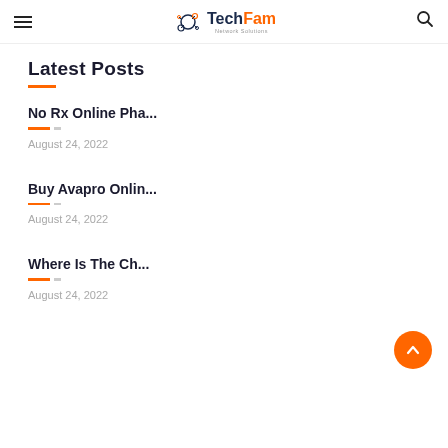TechFam Network Solutions
Latest Posts
No Rx Online Pha...
August 24, 2022
Buy Avapro Onlin...
August 24, 2022
Where Is The Ch...
August 24, 2022